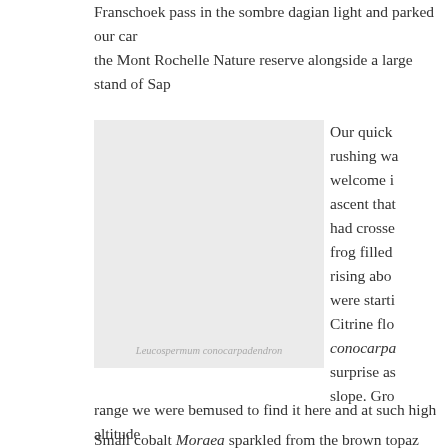Franschoek pass in the sombre dagian light and parked our car the Mont Rochelle Nature reserve alongside a large stand of Sap
[Figure (photo): A grey placeholder image representing a photo of Leucospermum conocarpadendron]
Leucospermum conocarpadendron
Our quick rushing wa welcome i ascent that had crosse frog filled rising abo were starti Citrine flo conocarpa surprise as slope. Gro
range we were bemused to find it here and at such high altitude we went up and up, little rest in the form of flat land came our w
Small cobalt Moraea sparkled from the brown topaz restios as w